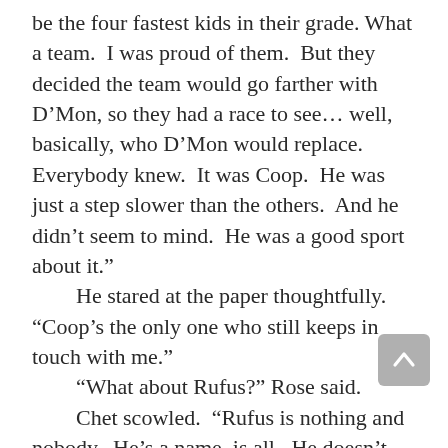be the four fastest kids in their grade. What a team.  I was proud of them.  But they decided the team would go farther with D’Mon, so they had a race to see… well, basically, who D’Mon would replace.  Everybody knew.  It was Coop.  He was just a step slower than the others.  And he didn’t seem to mind.  He was a good sport about it."
 He stared at the paper thoughtfully.  “Coop’s the only one who still keeps in touch with me."
 “What about Rufus?” Rose said.
 Chet scowled.  “Rufus is nothing and nobody.  He’s a name, is all.  He doesn’t exist.  He’s just a… a boogeyman story parents around here use to scare their children into staying put.  Y’know, ‘Now don’t go wandering off, Billy Jo, or Rufus’ll snatch you up in his sack.’ That sort of